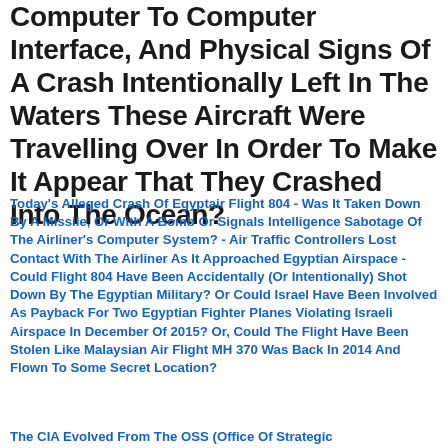Computer To Computer Interface, And Physical Signs Of A Crash Intentionally Left In The Waters These Aircraft Were Travelling Over In Order To Make It Appear That They Crashed Into The Ocean?
Today's Alleged Crash Of Egyptair Flight 804 - Was It Taken Down By A Missile, Or With A Bomb Or Signals Intelligence Sabotage Of The Airliner's Computer System? - Air Traffic Controllers Lost Contact With The Airliner As It Approached Egyptian Airspace - Could Flight 804 Have Been Accidentally (Or Intentionally) Shot Down By The Egyptian Military? Or Could Israel Have Been Involved As Payback For Two Egyptian Fighter Planes Violating Israeli Airspace In December Of 2015? Or, Could The Flight Have Been Stolen Like Malaysian Air Flight MH 370 Was Back In 2014 And Flown To Some Secret Location?
The CIA Evolved From The OSS (Office Of Strategic...